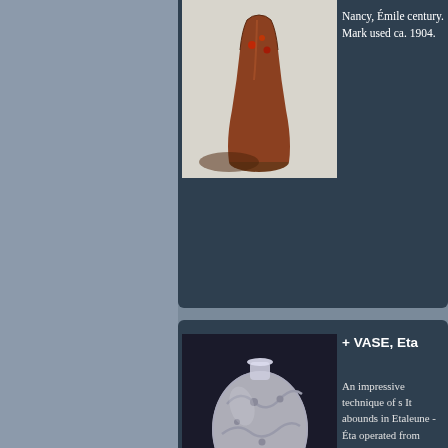[Figure (photo): Tall slender amber/red art glass vase on dark background, partially visible at top]
Nancy, Émile century. Mark used ca. 1904.
[Figure (photo): Frosted clear glass vase with relief decoration of berries and leaves, round bulbous form, on dark background]
+ VASE, Eta
An impressive technique of s It abounds in Etaleune - Éta operated from
Height 25.5...
[Figure (photo): Orange/red art nouveau water can or pitcher with floral enamel decoration, partially visible at bottom]
WATER CA
An interesting